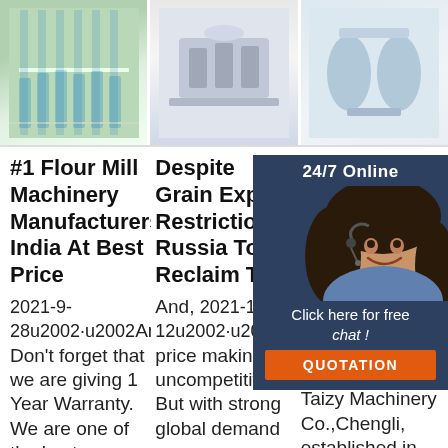[Figure (photo): Three product/facility photos in a horizontal row: left shows a factory floor with green and blue items, center shows milling machinery, right shows industrial processing equipment.]
#1 Flour Mill Machinery Manufacturers India At Best Price
2021-9-28u2002·u2002And, Don't forget that we are giving 1 Year Warranty. We are one of the best
Despite Grain Export Restrictions, Russia To Reclaim Top
And, 2021-1-12u2002·u2002Since price making it uncompetitive. But with strong global demand
20 20 Machinery Zhengzhou Taizy Machinery Co.,Chengli, established in
[Figure (photo): Customer service chat widget overlay: dark blue panel with '24/7 Online' header, photo of smiling female customer service agent with headset, 'Click here for free chat!' text, and orange QUOTATION button.]
[Figure (logo): Orange and red 'TOP' logo with dotted arc above text, positioned at lower right.]